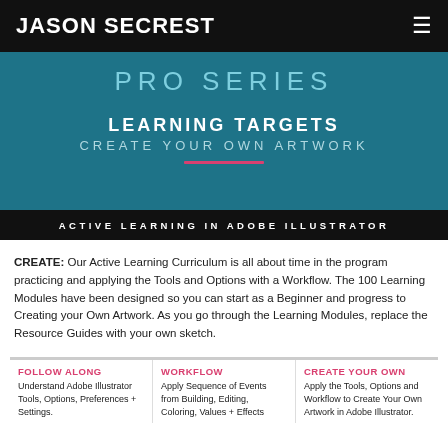JASON SECREST
[Figure (illustration): Banner graphic with teal/dark blue background. Top: 'PRO SERIES' in large spaced letters. Middle: 'LEARNING TARGETS' bold white, 'CREATE YOUR OWN ARTWORK' in lighter letters below, with a pink/red horizontal rule. Bottom black bar: 'ACTIVE LEARNING IN ADOBE ILLUSTRATOR' in spaced white caps.]
CREATE: Our Active Learning Curriculum is all about time in the program practicing and applying the Tools and Options with a Workflow. The 100 Learning Modules have been designed so you can start as a Beginner and progress to Creating your Own Artwork. As you go through the Learning Modules, replace the Resource Guides with your own sketch.
FOLLOW ALONG — Understand Adobe Illustrator Tools, Options, Preferences + Settings.
WORKFLOW — Apply Sequence of Events from Building, Editing, Coloring, Values + Effects
CREATE YOUR OWN — Apply the Tools, Options and Workflow to Create Your Own Artwork in Adobe Illustrator.